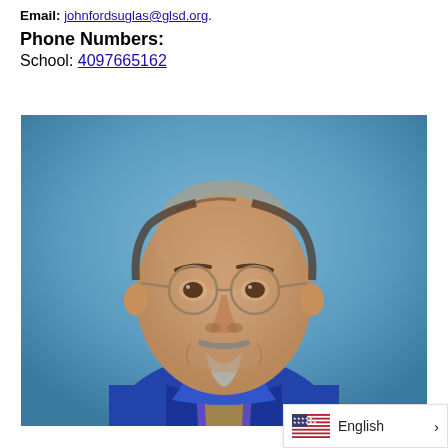Email: johnfordsuglas@glsd.org
Phone Numbers:
School: 4097665162
[Figure (photo): Headshot photo of a middle-aged man with glasses, goatee, wearing a blue shirt and a lanyard, against a blue background.]
English >